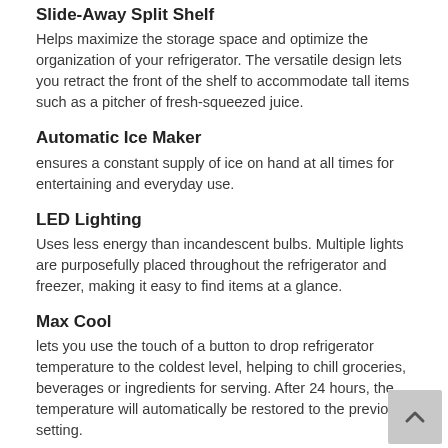Slide-Away Split Shelf
Helps maximize the storage space and optimize the organization of your refrigerator. The versatile design lets you retract the front of the shelf to accommodate tall items such as a pitcher of fresh-squeezed juice.
Automatic Ice Maker
ensures a constant supply of ice on hand at all times for entertaining and everyday use.
LED Lighting
Uses less energy than incandescent bulbs. Multiple lights are purposefully placed throughout the refrigerator and freezer, making it easy to find items at a glance.
Max Cool
lets you use the touch of a button to drop refrigerator temperature to the coldest level, helping to chill groceries, beverages or ingredients for serving. After 24 hours, the temperature will automatically be restored to the previous setting.
ENERGY STAR® Qualified
products conserve energy by exceeding minimum federal energy efficiency…